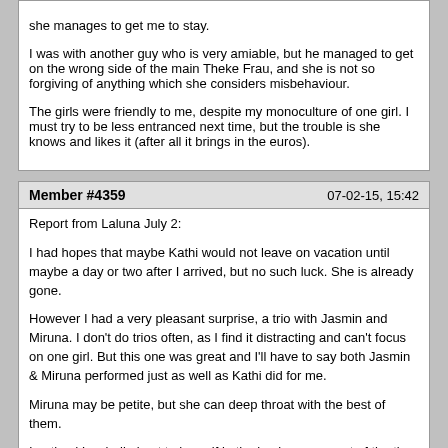she manages to get me to stay.

I was with another guy who is very amiable, but he managed to get on the wrong side of the main Theke Frau, and she is not so forgiving of anything which she considers misbehaviour.

The girls were friendly to me, despite my monoculture of one girl. I must try to be less entranced next time, but the trouble is she knows and likes it (after all it brings in the euros).
Member #4359	07-02-15, 15:42
Report from Laluna July 2:

I had hopes that maybe Kathi would not leave on vacation until maybe a day or two after I arrived, but no such luck. She is already gone.

However I had a very pleasant surprise, a trio with Jasmin and Miruna. I don't do trios often, as I find it distracting and can't focus on one girl. But this one was great and I'll have to say both Jasmin & Miruna performed just as well as Kathi did for me.

Miruna may be petite, but she can deep throat with the best of them.

I noticed Issabella kept to herself in the back room, most of the time completely alone. Having read that she doesn't like to kiss with tongue, and doesn't want cum in pussy, I had no inclination to approach her.

I really wanted to see Eveline, but she wasn't there when I arrived and finally showed up after I had been there a couple of hours. I was disappointed; she wouldn't make eye contact and acted uninterested in having a session.

Finally, though it's hard for me to perform more than once a day, I chose Amira who is not pictured on the website. Amira is a beautiful young woman with gorgeous breasts, though some may find her plump. Looks are not the number on thing for me, but unfortunately her performance was okay but not exceptional. After previous spoilings by Kathi, and following Jasmin & Miruna